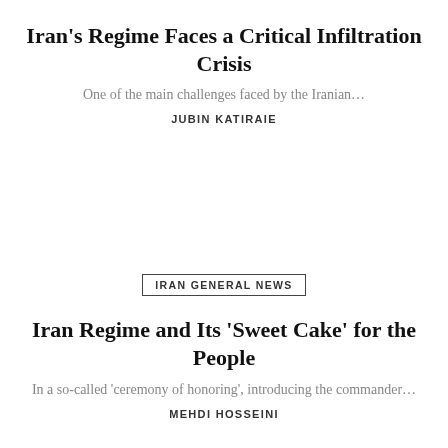Iran's Regime Faces a Critical Infiltration Crisis
One of the main challenges faced by the Iranian…
JUBIN KATIRAIE
IRAN GENERAL NEWS
Iran Regime and Its 'Sweet Cake' for the People
In a so-called 'ceremony of honoring', introducing the commander…
MEHDI HOSSEINI